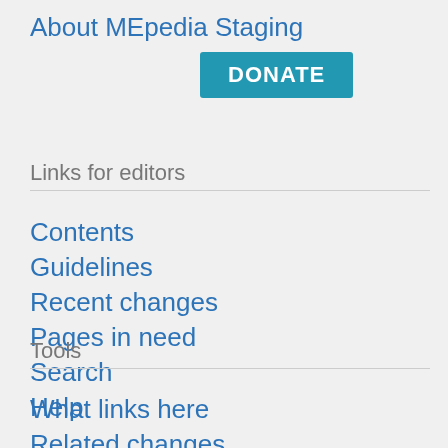About MEpedia Staging
[Figure (other): DONATE button — teal/blue rounded rectangle button with white bold text]
Links for editors
Contents
Guidelines
Recent changes
Pages in need
Search
Help
Tools
What links here
Related changes
Special pages